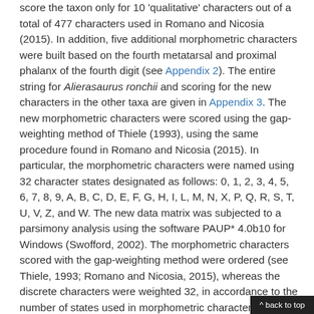score the taxon only for 10 'qualitative' characters out of a total of 477 characters used in Romano and Nicosia (2015). In addition, five additional morphometric characters were built based on the fourth metatarsal and proximal phalanx of the fourth digit (see Appendix 2). The entire string for Alierasaurus ronchii and scoring for the new characters in the other taxa are given in Appendix 3. The new morphometric characters were scored using the gap-weighting method of Thiele (1993), using the same procedure found in Romano and Nicosia (2015). In particular, the morphometric characters were named using 32 character states designated as follows: 0, 1, 2, 3, 4, 5, 6, 7, 8, 9, A, B, C, D, E, F, G, H, I, L, M, N, X, P, Q, R, S, T, U, V, Z, and W. The new data matrix was subjected to a parsimony analysis using the software PAUP* 4.0b10 for Windows (Swofford, 2002). The morphometric characters scored with the gap-weighting method were ordered (see Thiele, 1993; Romano and Nicosia, 2015), whereas the discrete characters were weighted 32, in accordance to the number of states used in morphometric characters. This implies that the discrete characters and the ordered morphometric ones have equivalent initial weight fo
^ back to top